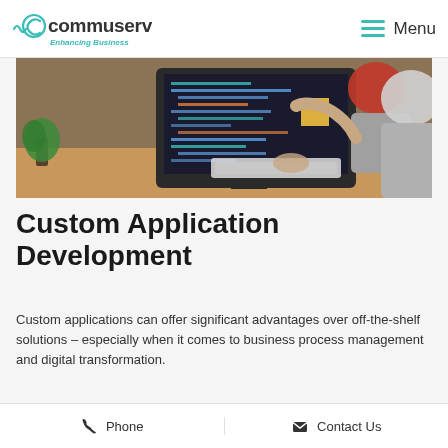commuserv – Enhancing Business | Menu
[Figure (photo): Two people working at a desktop computer with code visible on the monitor screen, in an office setting]
Custom Application Development
Custom applications can offer significant advantages over off-the-shelf solutions – especially when it comes to business process management and digital transformation.
Read more
Phone | Contact Us